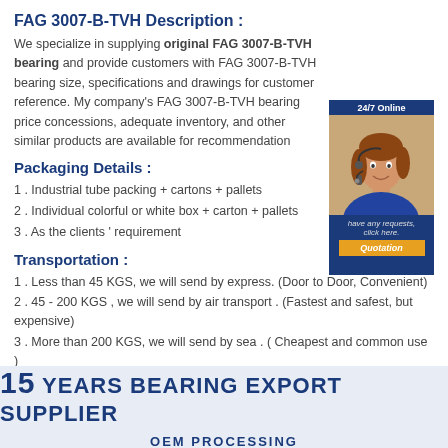FAG 3007-B-TVH Description :
We specialize in supplying original FAG 3007-B-TVH bearing and provide customers with FAG 3007-B-TVH bearing size, specifications and drawings for customer reference. My company's FAG 3007-B-TVH bearing price concessions, adequate inventory, and other similar products are available for recommendation
[Figure (photo): Customer service representative with headset, 24/7 Online badge, and Quotation button]
Packaging Details :
1 . Industrial tube packing + cartons + pallets
2 . Individual colorful or white box + carton + pallets
3 . As the clients ' requirement
Transportation :
1 . Less than 45 KGS, we will send by express. (Door to Door, Convenient)
2 . 45 - 200 KGS , we will send by air transport . (Fastest and safest, but expensive)
3 . More than 200 KGS, we will send by sea . ( Cheapest and common use )
[Figure (infographic): Banner: 15 YEARS BEARING EXPORT SUPPLIER with OEM PROCESSING subtitle on light blue background]